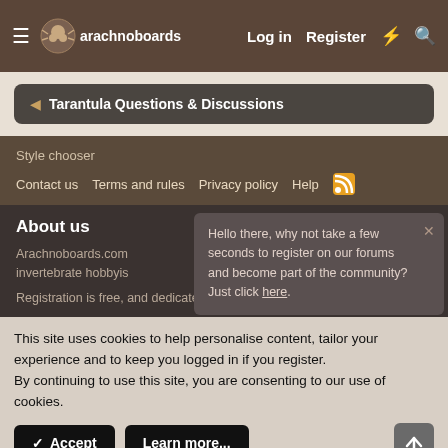arachnoboards — Log in   Register
Tarantula Questions & Discussions
Style chooser
Contact us   Terms and rules   Privacy policy   Help
About us
Arachnoboards.com invertebrate hobbyis...
Hello there, why not take a few seconds to register on our forums and become part of the community? Just click here.
Registration is free, and dedicated forums exist for the discussion of
This site uses cookies to help personalise content, tailor your experience and to keep you logged in if you register.
By continuing to use this site, you are consenting to our use of cookies.
✓ Accept   Learn more...